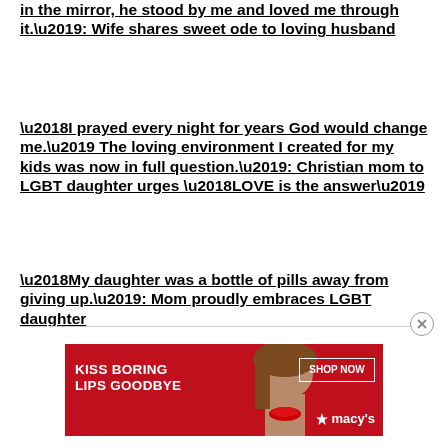in the mirror, he stood by me and loved me through it.’: Wife shares sweet ode to loving husband
‘I prayed every night for years God would change me.’ The loving environment I created for my kids was now in full question.’: Christian mom to LGBT daughter urges ‘LOVE is the answer’
‘My daughter was a bottle of pills away from giving up.’: Mom proudly embraces LGBT daughter
[Figure (illustration): Advertisement banner: red background with woman model photo, text KISS BORING LIPS GOODBYE, SHOP NOW button, and Macy's logo with star]